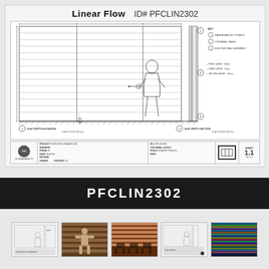Linear Flow   ID# PFCLIN2302
[Figure (engineering-diagram): Architectural/engineering blueprint drawing showing a slat depth elevation and slat depth section view. The main elevation shows a wall panel layout with horizontal slats and a human silhouette figure for scale. The section view on the right shows wall assembly layers. A key on the right indicates: 1) Baseboard by others, 2) Podpanel Panel, 3) Existing wall assembly. Layer notes show: First Layer ~60mm, Third Layer ~9mm, Second Layer ~20mm. Drawing numbers and scale references appear at the bottom.]
| Project | ID# | Sheet |
| --- | --- | --- |
| PODFILTER LINEAR FLOW | PFCLIN2302 | 1.1 |
| COD PANEL LAYOUT |  |  |
PFCLIN2302
[Figure (screenshot): Thumbnail 1: Engineering drawing similar to main drawing, showing wall elevation with human figure]
[Figure (photo): Thumbnail 2: Photo of person standing in front of horizontal slat wall panels, brown/warm tones]
[Figure (photo): Thumbnail 3: Photo of interior space with horizontal striped wall panels and chairs]
[Figure (screenshot): Thumbnail 4: Engineering drawing showing wall panel elevation, similar layout view]
[Figure (photo): Thumbnail 5: Dark photo showing colorful illuminated horizontal panels/strips in blues and greens]